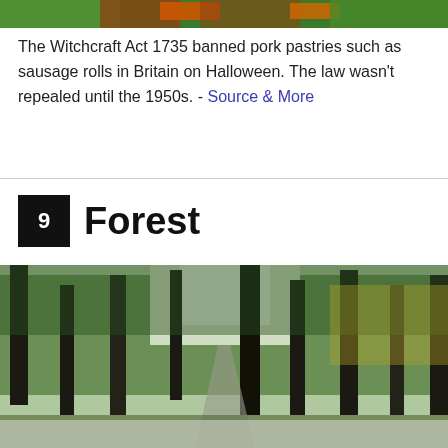[Figure (photo): Partial photo of food (sausage rolls) visible at top of page]
The Witchcraft Act 1735 banned pork pastries such as sausage rolls in Britain on Halloween. The law wasn't repealed until the 1950s. - Source & More
9 Forest
[Figure (photo): Photo of a forest with tall pine trees along a path, green foliage, with an adpushup advertisement overlay at the bottom]